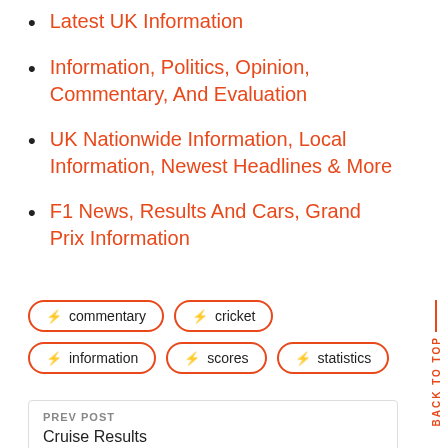Latest UK Information
Information, Politics, Opinion, Commentary, And Evaluation
UK Nationwide Information, Local Information, Newest Headlines & More
F1 News, Results And Cars, Grand Prix Information
⚡ commentary  ⚡ cricket  ⚡ information  ⚡ scores  ⚡ statistics
PREV POST
Cruise Results